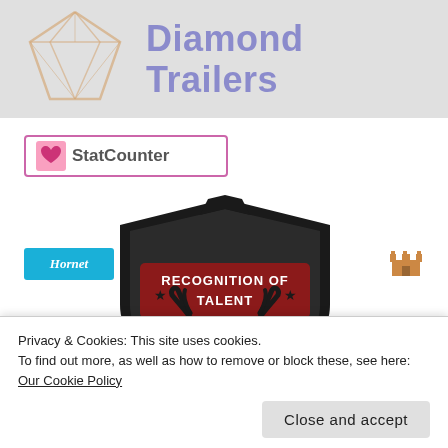[Figure (logo): Diamond Trailers logo banner with diamond shape outline and purple text reading 'Diamond Trailers' on a grey background]
[Figure (logo): StatCounter badge with pink heart icon and text 'StatCounter' inside a pink-bordered box]
[Figure (logo): Recognition of Talent shield logo with antlers, dark red banner, stars, and bold white text reading 'RECOGNITION OF TALENT']
[Figure (logo): Hornet badge in teal/blue at bottom left]
[Figure (logo): Small building/castle icon at bottom right]
Privacy & Cookies: This site uses cookies.
To find out more, as well as how to remove or block these, see here: Our Cookie Policy
Close and accept